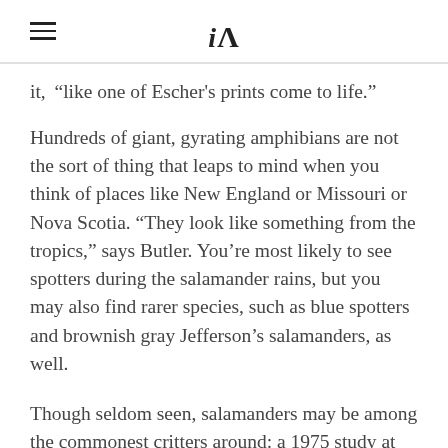iA
it, "like one of Escher's prints come to life."
Hundreds of giant, gyrating amphibians are not the sort of thing that leaps to mind when you think of places like New England or Missouri or Nova Scotia. “They look like something from the tropics,” says Butler. You’re most likely to see spotters during the salamander rains, but you may also find rarer species, such as blue spotters and brownish gray Jefferson’s salamanders, as well.
Though seldom seen, salamanders may be among the commonest critters around: a 1975 study at